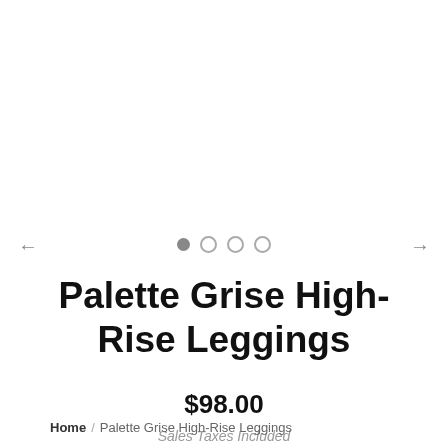[Figure (other): Carousel navigation with left arrow, 4 dot indicators (first filled), and right arrow]
Palette Grise High-Rise Leggings
$98.00
Sales Taxes Included
Size:
[Figure (other): Size selector dropdown input field]
Home / Palette Grise High-Rise Leggings